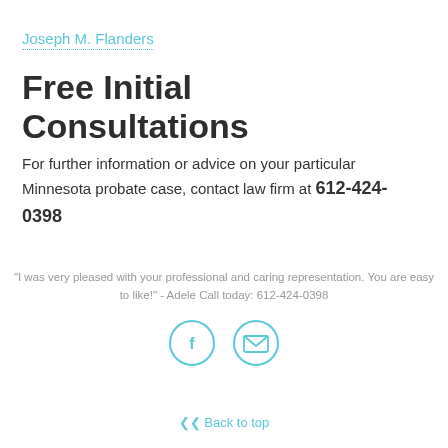Joseph M. Flanders
Free Initial Consultations
For further information or advice on your particular Minnesota probate case, contact law firm at 612-424-0398
"I was very pleased with your professional and caring representation. You are easy to like!" - Adele Call today: 612-424-0398
[Figure (other): Two circular social media icons: Facebook (f) and email (envelope), styled in cyan/teal outline circles]
Back to top